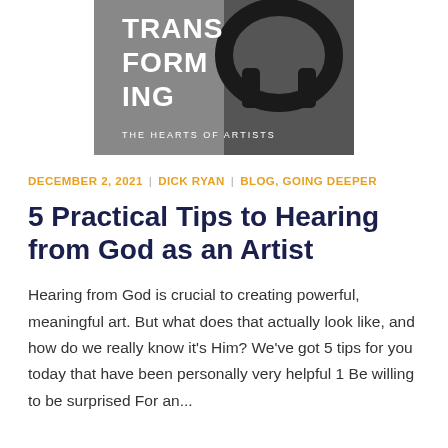[Figure (photo): Book or podcast cover image showing headphones on a gray background with bold white text reading 'TRANSFORMING THE HEARTS OF ARTISTS']
DECEMBER 2, 2021 | DICK RYAN | BLOG, GOING DEEPER
5 Practical Tips to Hearing from God as an Artist
Hearing from God is crucial to creating powerful, meaningful art. But what does that actually look like, and how do we really know it's Him? We've got 5 tips for you today that have been personally very helpful 1 Be willing to be surprised For an...